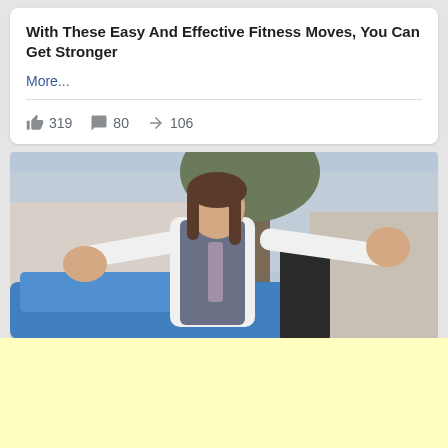With These Easy And Effective Fitness Moves, You Can Get Stronger
More...
319  80  106
[Figure (photo): Man in grey vest and white shirt with arms outstretched standing near a blue car, with trees in background]
[Figure (other): Yellow advertisement block]